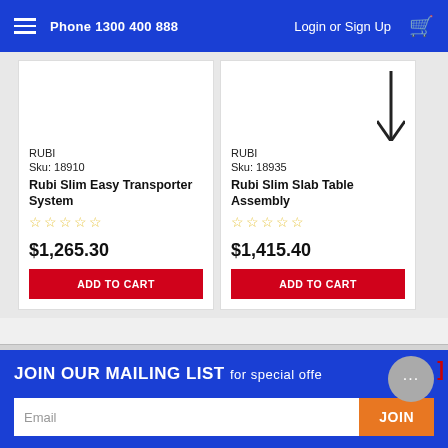Phone 1300 400 888 | Login or Sign Up
RUBI
Sku: 18910
Rubi Slim Easy Transporter System
$1,265.30
RUBI
Sku: 18935
Rubi Slim Slab Table Assembly
$1,415.40
JOIN OUR MAILING LIST for special offer